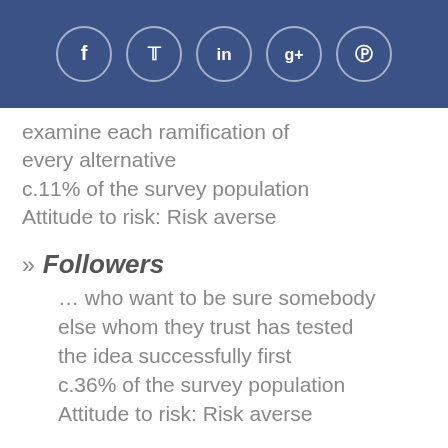[Figure (other): Social media sharing icons bar: Facebook (f), Twitter (bird/t), LinkedIn (in), Google+ (g+), Pinterest (p) — white circle icons on dark blue background]
examine each ramification of every alternative
c.11% of the survey population
Attitude to risk: Risk averse
Followers … who want to be sure somebody else whom they trust has tested the idea successfully first c.36% of the survey population Attitude to risk: Risk averse
Skeptics … who really only trust their own instincts and want every assertion